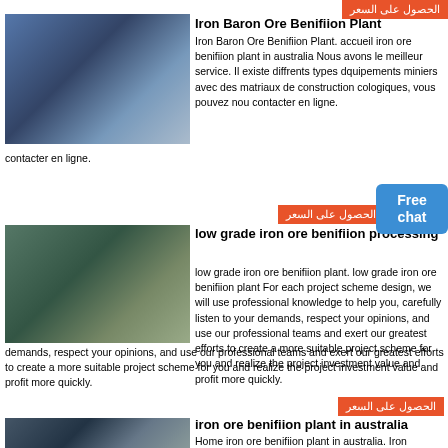الحصول على السعر
[Figure (photo): Industrial jaw crusher machine in a factory setting]
Iron Baron Ore Benifiion Plant
Iron Baron Ore Benifiion Plant. accueil iron ore benifiion plant in australia Nous avons le meilleur service. Il existe diffrents types dquipements miniers avec des matriaux de construction cologiques, vous pouvez nous contacter en ligne.
الحصول على السعر
Free chat
[Figure (photo): Industrial ore processing/milling equipment in factory]
low grade iron ore benifiion processing
low grade iron ore benifiion plant. low grade iron ore benifiion plant For each project scheme design, we will use professional knowledge to help you, carefully listen to your demands, respect your opinions, and use our professional teams and exert our greatest efforts to create a more suitable project scheme for you and realize the project investment value and profit more quickly.
الحصول على السعر
[Figure (photo): Industrial plant interior with ore processing equipment]
iron ore benifiion plant in australia
Home iron ore benifiion plant in australia. Iron